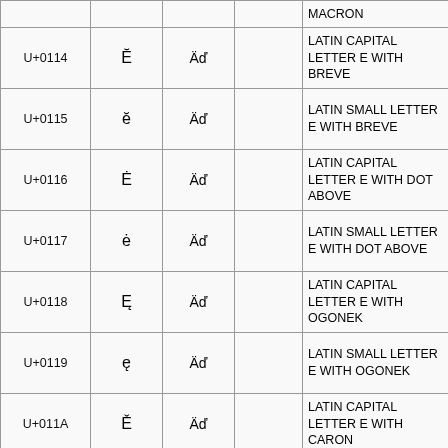| Code | Char | Encoding |  | Name |
| --- | --- | --- | --- | --- |
|  |  |  |  | MACRON |
| U+0114 | Ĕ | Äď |  | LATIN CAPITAL LETTER E WITH BREVE |
| U+0115 | ĕ | Äď |  | LATIN SMALL LETTER E WITH BREVE |
| U+0116 | Ė | Äď |  | LATIN CAPITAL LETTER E WITH DOT ABOVE |
| U+0117 | ė | Äď |  | LATIN SMALL LETTER E WITH DOT ABOVE |
| U+0118 | Ę | Äď |  | LATIN CAPITAL LETTER E WITH OGONEK |
| U+0119 | ę | Äď |  | LATIN SMALL LETTER E WITH OGONEK |
| U+011A | Ě | Äď |  | LATIN CAPITAL LETTER E WITH CARON |
| U+011B | ě | Äď |  | LATIN SMALL LETTER E WITH |